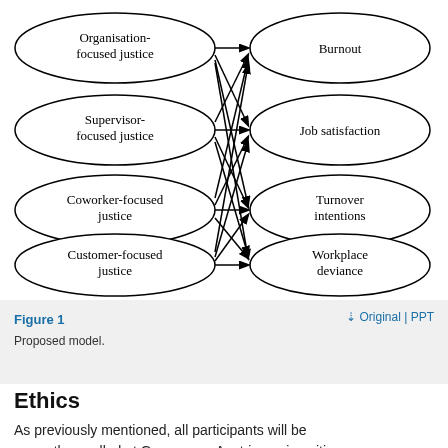[Figure (network-graph): A proposed model diagram showing four left-side ellipses labeled 'Organisation-focused justice', 'Supervisor-focused justice', 'Coworker-focused justice', 'Customer-focused justice', each connected by arrows to four right-side ellipses labeled 'Burnout', 'Job satisfaction', 'Turnover intentions', 'Workplace deviance'. All left nodes connect to all right nodes forming a fully connected bipartite graph.]
Figure 1
Proposed model.
Ethics
As previously mentioned, all participants will be currently enrolled at German- or Austrian universities